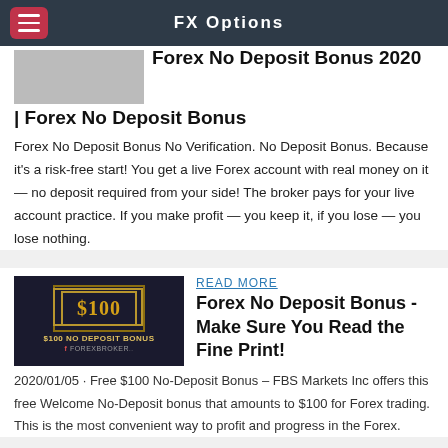FX Options
Forex No Deposit Bonus 2020 | Forex No Deposit Bonus
Forex No Deposit Bonus No Verification. No Deposit Bonus. Because it's a risk-free start! You get a live Forex account with real money on it — no deposit required from your side! The broker pays for your live account practice. If you make profit — you keep it, if you lose — you lose nothing.
[Figure (photo): Promotional banner image for $100 No Deposit Bonus by ForexBroker]
READ MORE
Forex No Deposit Bonus - Make Sure You Read the Fine Print!
2020/01/05 · Free $100 No-Deposit Bonus – FBS Markets Inc offers this free Welcome No-Deposit bonus that amounts to $100 for Forex trading. This is the most convenient way to profit and progress in the Forex.